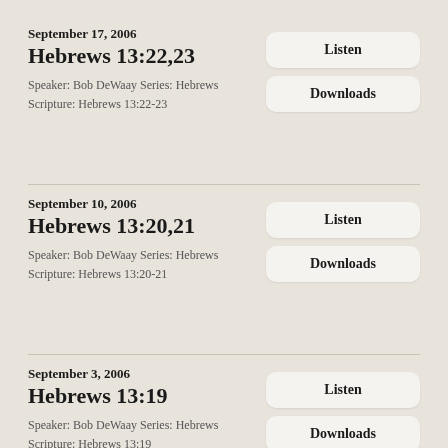September 17, 2006
Hebrews 13:22,23
Speaker: Bob DeWaay Series: Hebrews
Scripture: Hebrews 13:22-23
September 10, 2006
Hebrews 13:20,21
Speaker: Bob DeWaay Series: Hebrews
Scripture: Hebrews 13:20-21
September 3, 2006
Hebrews 13:19
Speaker: Bob DeWaay Series: Hebrews
Scripture: Hebrews 13:19